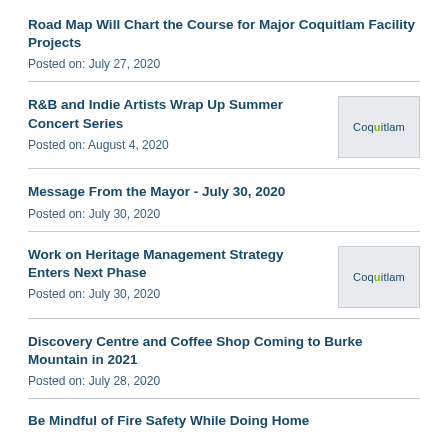Road Map Will Chart the Course for Major Coquitlam Facility Projects
Posted on: July 27, 2020
R&B and Indie Artists Wrap Up Summer Concert Series
Posted on: August 4, 2020
[Figure (logo): Coquitlam logo thumbnail]
Message From the Mayor - July 30, 2020
Posted on: July 30, 2020
Work on Heritage Management Strategy Enters Next Phase
Posted on: July 30, 2020
[Figure (logo): Coquitlam logo thumbnail]
Discovery Centre and Coffee Shop Coming to Burke Mountain in 2021
Posted on: July 28, 2020
Be Mindful of Fire Safety While Doing Home